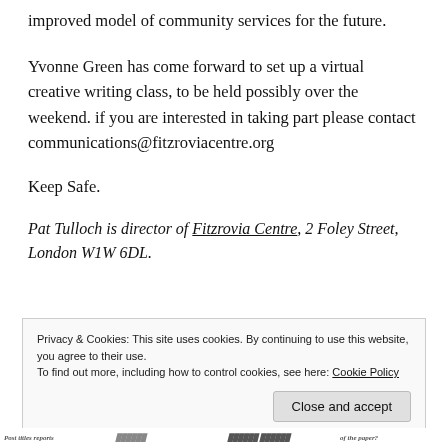improved model of community services for the future.
Yvonne Green has come forward to set up a virtual creative writing class, to be held possibly over the weekend. if you are interested in taking part please contact communications@fitzroviacentre.org
Keep Safe.
Pat Tulloch is director of Fitzrovia Centre, 2 Foley Street, London W1W 6DL.
Privacy & Cookies: This site uses cookies. By continuing to use this website, you agree to their use. To find out more, including how to control cookies, see here: Cookie Policy
Close and accept